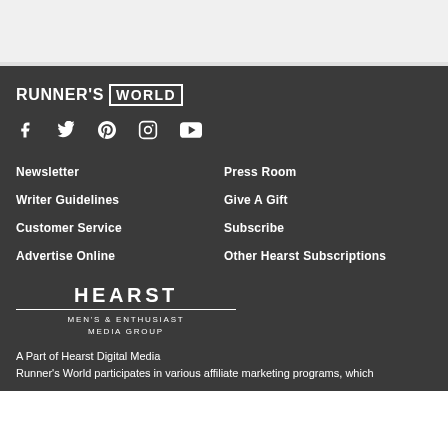[Figure (logo): Runner's World logo with RUNNER'S text and WORLD in a box]
[Figure (infographic): Social media icons: Facebook, Twitter, Pinterest, Instagram, YouTube]
Newsletter
Press Room
Writer Guidelines
Give A Gift
Customer Service
Subscribe
Advertise Online
Other Hearst Subscriptions
[Figure (logo): Hearst Men's & Enthusiast Media Group logo]
A Part of Hearst Digital Media
Runner's World participates in various affiliate marketing programs, which